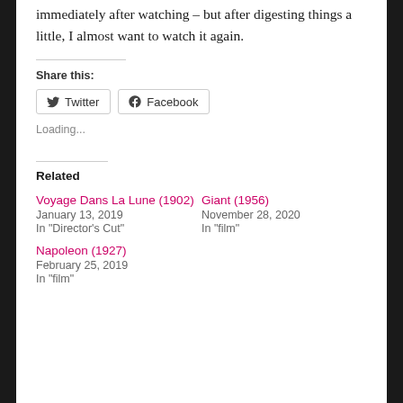immediately after watching – but after digesting things a little, I almost want to watch it again.
Share this:
[Figure (other): Twitter and Facebook share buttons]
Loading...
Related
Voyage Dans La Lune (1902)
January 13, 2019
In "Director's Cut"
Giant (1956)
November 28, 2020
In "film"
Napoleon (1927)
February 25, 2019
In "film"